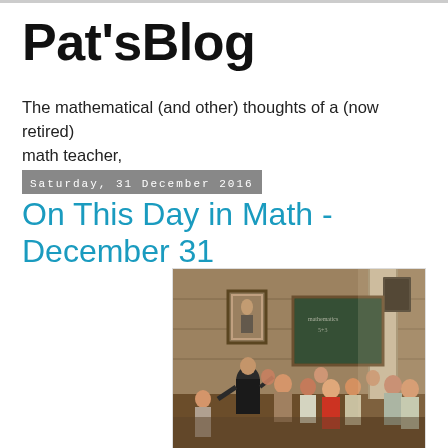Pat'sBlog
The mathematical (and other) thoughts of a (now retired) math teacher,
Saturday, 31 December 2016
On This Day in Math - December 31
[Figure (illustration): A classical painting depicting a classroom scene with a teacher and students around a chalkboard, reminiscent of a Norman Rockwell style illustration.]